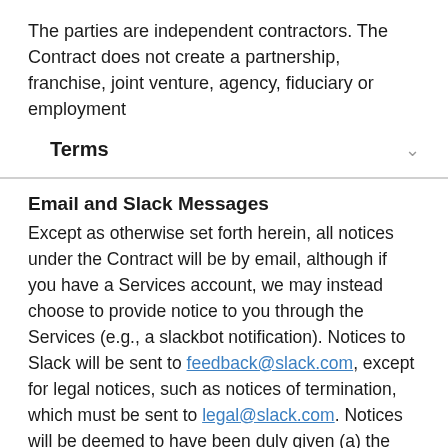The parties are independent contractors. The Contract does not create a partnership, franchise, joint venture, agency, fiduciary or employment
Terms
Email and Slack Messages
Except as otherwise set forth herein, all notices under the Contract will be by email, although if you have a Services account, we may instead choose to provide notice to you through the Services (e.g., a slackbot notification). Notices to Slack will be sent to feedback@slack.com, except for legal notices, such as notices of termination, which must be sent to legal@slack.com. Notices will be deemed to have been duly given (a) the day after they are sent, in the case of notices